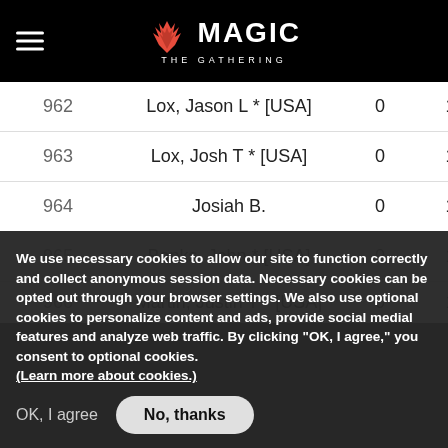Magic: The Gathering
| # | Name | Points | OMW% |
| --- | --- | --- | --- |
| 962 | Lox, Jason L * [USA] | 0 | 100.00% |
| 963 | Lox, Josh T * [USA] | 0 | 100.00% |
| 964 | Josiah B. | 0 | 100.00% |
| 965 | Banks, John * [USA] | 0 | 100.00% |
| 966 | Martin, Justin T * [USA] | 0 | 100.00% |
We use necessary cookies to allow our site to function correctly and collect anonymous session data. Necessary cookies can be opted out through your browser settings. We also use optional cookies to personalize content and ads, provide social medial features and analyze web traffic. By clicking “OK, I agree,” you consent to optional cookies. (Learn more about cookies.)
OK, I agree    No, thanks